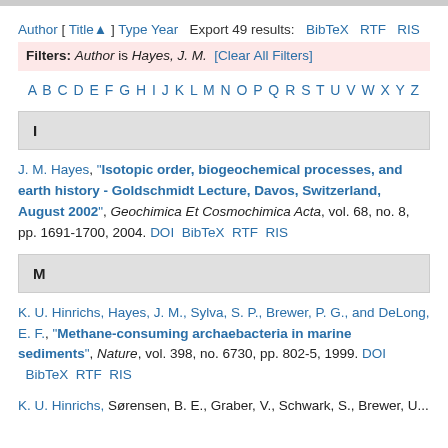Author [ Title▲ ] Type Year  Export 49 results:  BibTeX  RTF  RIS
Filters: Author is Hayes, J. M.  [Clear All Filters]
A B C D E F G H I J K L M N O P Q R S T U V W X Y Z
I
J. M. Hayes, "Isotopic order, biogeochemical processes, and earth history - Goldschmidt Lecture, Davos, Switzerland, August 2002", Geochimica Et Cosmochimica Acta, vol. 68, no. 8, pp. 1691-1700, 2004. DOI  BibTeX  RTF  RIS
M
K. U. Hinrichs, Hayes, J. M., Sylva, S. P., Brewer, P. G., and DeLong, E. F., "Methane-consuming archaebacteria in marine sediments", Nature, vol. 398, no. 6730, pp. 802-5, 1999. DOI  BibTeX  RTF  RIS
K. U. Hinrichs, ...